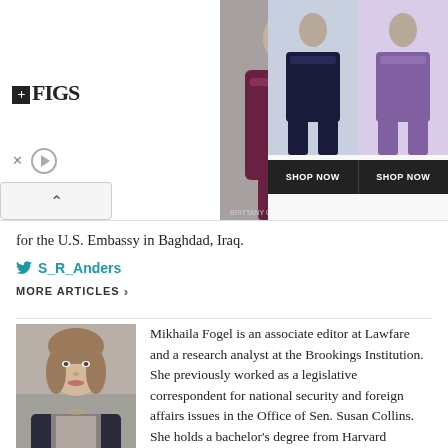[Figure (photo): FIGS advertisement banner showing a woman in dark red/maroon scrubs in the center, two product images on the right with SHOP NOW buttons, FIGS logo on the left with X and play icons, and a collapse/up arrow button.]
for the U.S. Embassy in Baghdad, Iraq.
S_R_Anders
MORE ARTICLES >
[Figure (photo): Headshot photo of Mikhaila Fogel, a young woman with light brown hair, wearing a dark blazer.]
Mikhaila Fogel is an associate editor at Lawfare and a research analyst at the Brookings Institution. She previously worked as a legislative correspondent for national security and foreign affairs issues in the Office of Sen. Susan Collins. She holds a bachelor's degree from Harvard College, where she majored in history and literature and minored in government and Arabic.
@MikhailaRFogel
MORE ARTICLES >